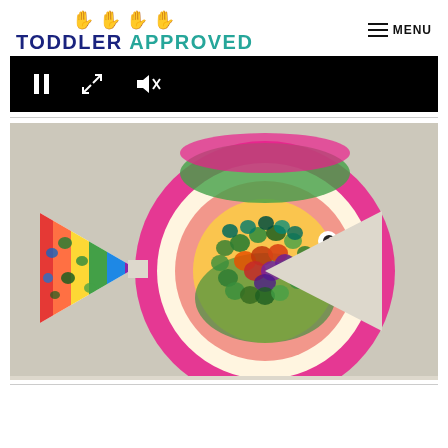[Figure (logo): Toddler Approved website logo with colorful handprint icons above the text TODDLER APPROVED in navy and teal]
MENU
[Figure (screenshot): Black video player bar with pause, expand, and mute controls]
[Figure (photo): Colorful paper plate fish craft made by a toddler, decorated with fingerprint dots in green, orange, red, blue and yellow paint on a pink and red paper plate body with a rainbow-striped triangular tail]